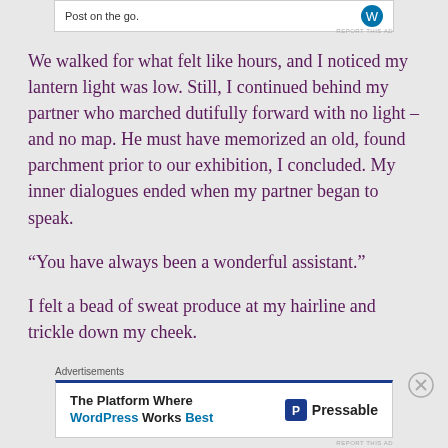[Figure (other): Top advertisement banner showing 'Post on the go.' text with a blue circular icon]
We walked for what felt like hours, and I noticed my lantern light was low. Still, I continued behind my partner who marched dutifully forward with no light – and no map. He must have memorized an old, found parchment prior to our exhibition, I concluded. My inner dialogues ended when my partner began to speak.
“You have always been a wonderful assistant.”
I felt a bead of sweat produce at my hairline and trickle down my cheek.
Advertisements
[Figure (other): Bottom advertisement for Pressable: 'The Platform Where WordPress Works Best' with Pressable logo]